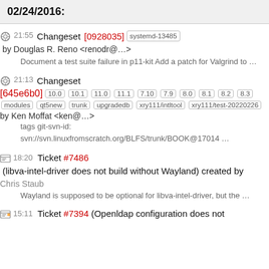02/24/2016:
21:55 Changeset [0928035] systemd-13485 by Douglas R. Reno <renodr@…>
Document a test suite failure in p11-kit Add a patch for Valgrind to …
21:13 Changeset [645e6b0] 10.0 10.1 11.0 11.1 7.10 7.9 8.0 8.1 8.2 8.3 modules qt5new trunk upgradedb xry111/intltool xry111/test-20220226 by Ken Moffat <ken@…>
tags git-svn-id: svn://svn.linuxfromscratch.org/BLFS/trunk/BOOK@17014 …
18:20 Ticket #7486 (libva-intel-driver does not build without Wayland) created by Chris Staub
Wayland is supposed to be optional for libva-intel-driver, but the …
15:11 Ticket #7394 (Openldap configuration does not